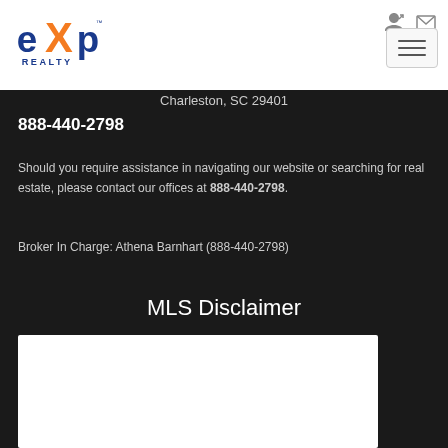[Figure (logo): eXp Realty logo with orange X and blue exp text]
Charleston, SC 29401
888-440-2798
Should you require assistance in navigating our website or searching for real estate, please contact our offices at 888-440-2798.
Broker In Charge: Athena Barnhart (888-440-2798)
MLS Disclaimer
[Figure (other): White box placeholder for MLS disclaimer content]